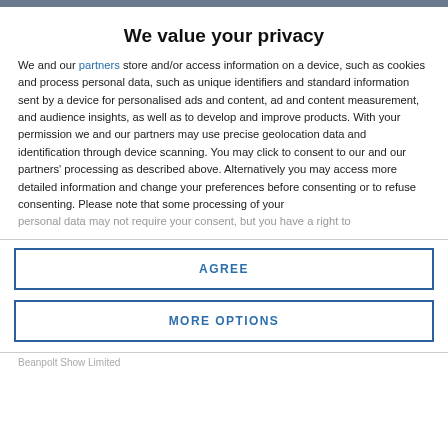We value your privacy
We and our partners store and/or access information on a device, such as cookies and process personal data, such as unique identifiers and standard information sent by a device for personalised ads and content, ad and content measurement, and audience insights, as well as to develop and improve products. With your permission we and our partners may use precise geolocation data and identification through device scanning. You may click to consent to our and our partners' processing as described above. Alternatively you may access more detailed information and change your preferences before consenting or to refuse consenting. Please note that some processing of your personal data may not require your consent, but you have a right to
AGREE
MORE OPTIONS
Beanpolt Show Limited